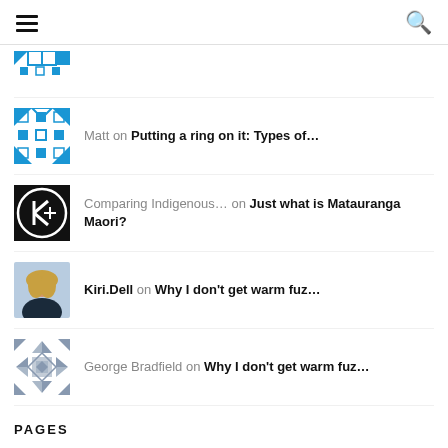Navigation menu and search
Matt on Putting a ring on it: Types of...
Comparing Indigenous... on Just what is Matauranga Maori?
Kiri.Dell on Why I don't get warm fuz...
George Bradfield on Why I don't get warm fuz...
PAGES